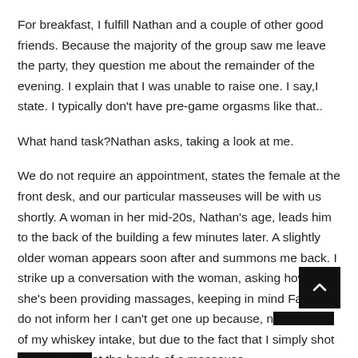For breakfast, I fulfill Nathan and a couple of other good friends. Because the majority of the group saw me leave the party, they question me about the remainder of the evening. I explain that I was unable to raise one. I say,I state. I typically don't have pre-game orgasms like that..
What hand task?Nathan asks, taking a look at me.
We do not require an appointment, states the female at the front desk, and our particular masseuses will be with us shortly. A woman in her mid-20s, Nathan's age, leads him to the back of the building a few minutes later. A slightly older woman appears soon after and summons me back. I strike up a conversation with the woman, asking how long she's been providing massages, keeping in mind Faye. I do not inform her I can't get one up because, n of my whiskey intake, but due to the fact that I simply shot at the hands of a masseuse.